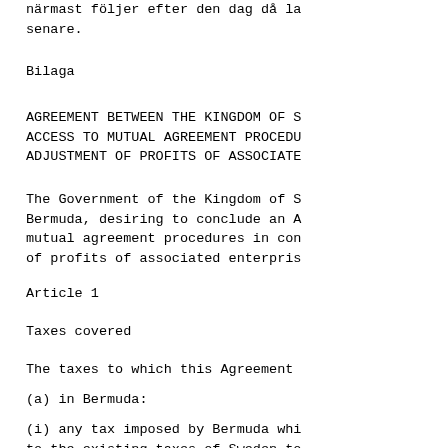närmast följer efter den dag då la
sena re.
Bilaga
AGREEMENT BETWEEN THE KINGDOM OF S
ACCESS TO MUTUAL AGREEMENT PROCEDU
ADJUSTMENT OF PROFITS OF ASSOCIATE
The Government of the Kingdom of S
Bermuda, desiring to conclude an A
mutual agreement procedures in con
of profits of associated enterpris
Article 1
Taxes covered
The taxes to which this Agreement
(a) in Bermuda:
(i) any tax imposed by Bermuda whi
to the existing taxes of Sweden to